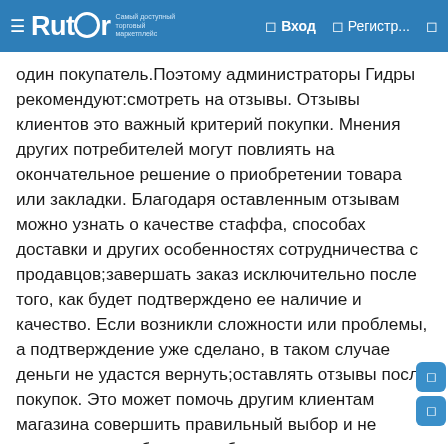☰ Rutor • Вход • Регистр...
один покупатель.Поэтому администраторы Гидры рекомендуют:смотреть на отзывы. Отзывы клиентов это важный критерий покупки. Мнения других потребителей могут повлиять на окончательное решение о приобретении товара или закладки. Благодаря оставленным отзывам можно узнать о качестве стаффа, способах доставки и других особенностях сотрудничества с продавцов;завершать заказ исключительно после того, как будет подтверждено ее наличие и качество. Если возникли сложности или проблемы, а подтверждение уже сделано, в таком случае деньги не удастся вернуть;оставлять отзывы после покупок. Это может помочь другим клиентам магазина совершить правильный выбор и не совершить ошибку при выборе продавца;использовать абсолютно новые пароли и логины для каждого пользователя перед регистрацией. Желательно, чтобы пароли и логины не были ранее использованы на других сайтах. Это позволит следовать принципам анонимности и безопасности;А может, Vanity Fair и House and Garden. В omg магазин в tor нет места погибели